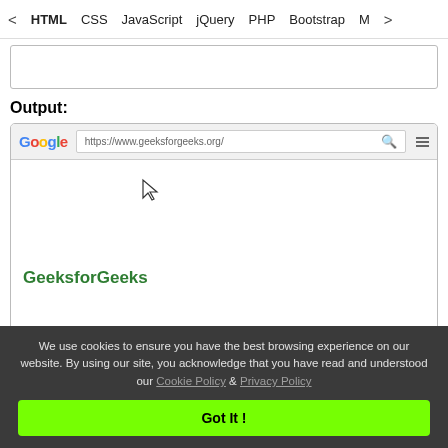< HTML  CSS  JavaScript  jQuery  PHP  Bootstrap  M>
[Figure (screenshot): Empty code input text area box]
Output:
[Figure (screenshot): Browser mockup showing Google logo, URL bar with https://www.geeksforgeeks.org/, search icon, mouse cursor, and GeeksforGeeks logo text]
We use cookies to ensure you have the best browsing experience on our website. By using our site, you acknowledge that you have read and understood our Cookie Policy & Privacy Policy
Got It !